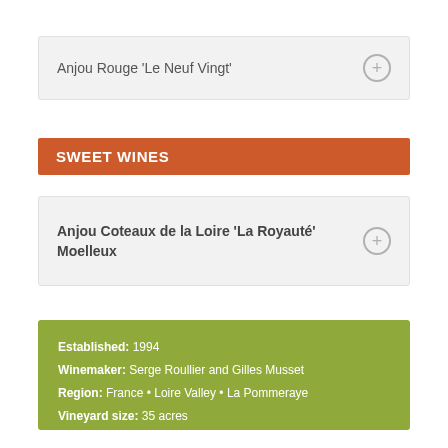Anjou Rouge 'Le Neuf Vingt'
SWEET WINES
Anjou Coteaux de la Loire 'La Royauté' Moelleux
Established: 1994
Winemaker: Serge Roullier and Gilles Musset
Region: France • Loire Valley • La Pommeraye
Vineyard size: 35 acres
PRACTICING SUSTAINABLE FARMING